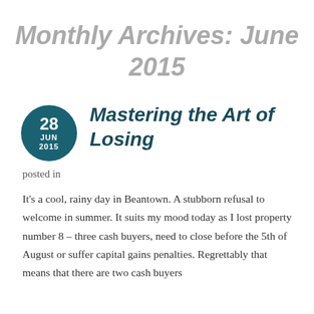Monthly Archives: June 2015
Mastering the Art of Losing
posted in
It's a cool, rainy day in Beantown.  A stubborn refusal to welcome in summer.  It suits my mood today as I lost property number 8 – three cash buyers, need to close before the 5th of August or suffer capital gains penalties.  Regrettably that means that there are two cash buyers